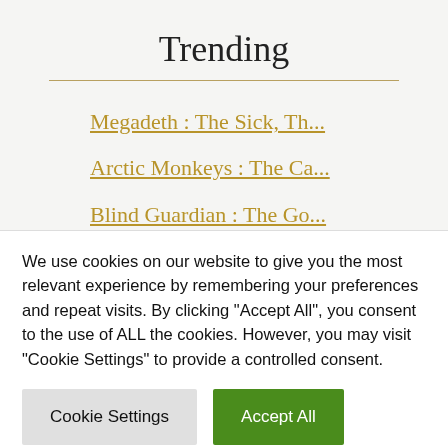Trending
Megadeth : The Sick, Th...
Arctic Monkeys : The Ca...
Blind Guardian : The Go...
Slipknot : The End, So...
Björk : Fossora
Ben Howard : NOONDAY DR...
Muse : Will Of The Peop...
We use cookies on our website to give you the most relevant experience by remembering your preferences and repeat visits. By clicking "Accept All", you consent to the use of ALL the cookies. However, you may visit "Cookie Settings" to provide a controlled consent.